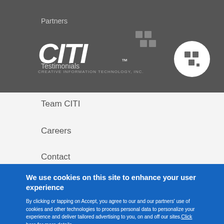CITI - Creative Information Technology, Inc.
Partners
[Figure (logo): CITI logo - Creative Information Technology Inc. wordmark in white on dark background with geometric icon]
Testimonials
Team CITI
Careers
Contact
We use cookies on this site to enhance your user experience
By clicking or tapping on Accept, you agree to our and our partners' use of cookies and other technologies to process personal data to personalize your experience and deliver tailored advertising to you, on and off our sites. Click here for more details